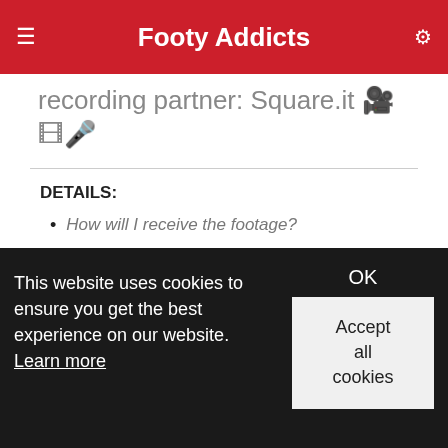Footy Addicts
recording partner: Square.it 🎥📽️🎬
DETAILS:
How will I receive the footage?
You will receive the footage via the game comments and FA messages within 72 hours. We deliver the full game so you miss none of your moments
What makes square.it recordings extra special?
We don't just share the raw footage, our professional team of editors will make you feel like you are watching back a
This website uses cookies to ensure you get the best experience on our website. Learn more
OK
Accept all cookies